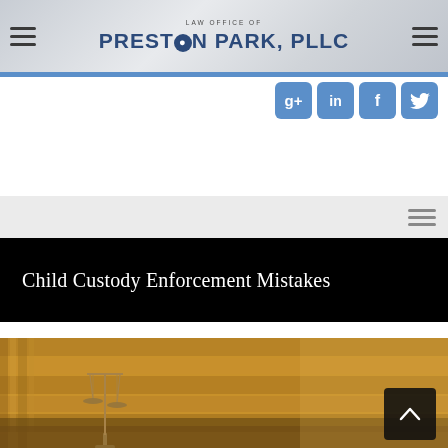LAW OFFICE OF PRESTON PARK, PLLC
[Figure (screenshot): Social media icon buttons: Google+, LinkedIn, Facebook, Twitter]
[Figure (screenshot): Hamburger menu icon on light grey navigation bar]
Child Custody Enforcement Mistakes
[Figure (photo): Blurred image of scales of justice figurine in a courtroom with bookshelves in background]